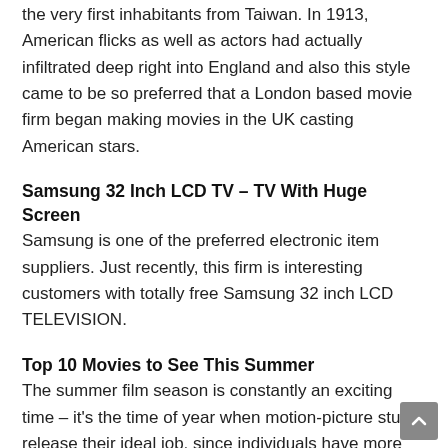the very first inhabitants from Taiwan. In 1913, American flicks as well as actors had actually infiltrated deep right into England and also this style came to be so preferred that a London based movie firm began making movies in the UK casting American stars.
Samsung 32 Inch LCD TV – TV With Huge Screen
Samsung is one of the preferred electronic item suppliers. Just recently, this firm is interesting customers with totally free Samsung 32 inch LCD TELEVISION.
Top 10 Movies to See This Summer
The summer film season is constantly an exciting time – it's the time of year when motion-picture studio release their ideal job, since individuals have more pause in the summer to check out what's brand-new. This is additionally the mom when young adults are out of school and they can have a